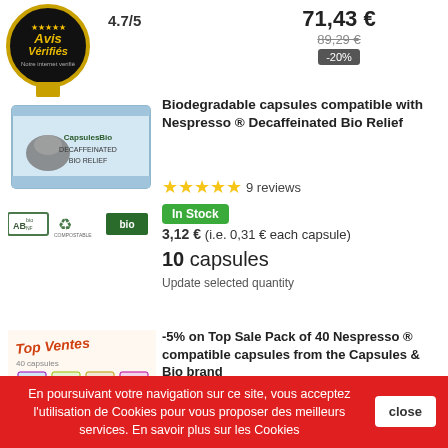[Figure (logo): Avis Vérifiés badge - circular black badge with gold stars and yellow ribbon]
4.7/5
71,43 €
89,29 €
-20%
[Figure (photo): Biodegradable capsule box product image with capsule icon]
[Figure (logo): AB organic certification badge, recyclable/compostable badge, Bio logo]
Biodegradable capsules compatible with Nespresso ® Decaffeinated Bio Relief
9 reviews
In Stock
3,12 €  (i.e. 0,31 € each capsule)
10 capsules
Update selected quantity
[Figure (photo): Top Ventes 40 capsules promotional product image]
-5% on Top Sale Pack of 40 Nespresso ® compatible capsules from the Capsules & Bio brand
In Stock
Reduced price!
En poursuivant votre navigation sur ce site, vous acceptez l'utilisation de Cookies pour vous proposer des meilleurs services. En savoir plus sur les Cookies